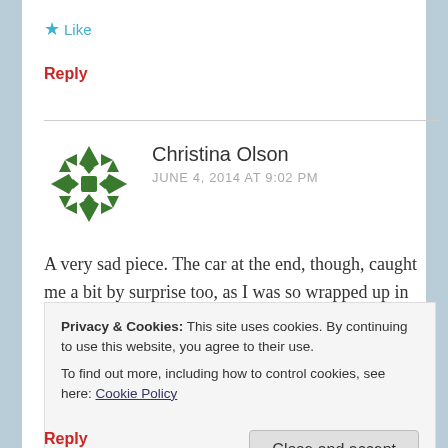★ Like
Reply
[Figure (logo): Green ornamental avatar/gravatar with cross-like geometric pattern for user Christina Olson]
Christina Olson
JUNE 4, 2014 AT 9:02 PM
A very sad piece. The car at the end, though, caught me a bit by surprise too, as I was so wrapped up in what the MC was thinking/feeling that I didn't
Privacy & Cookies: This site uses cookies. By continuing to use this website, you agree to their use.
To find out more, including how to control cookies, see here: Cookie Policy
Close and accept
Reply